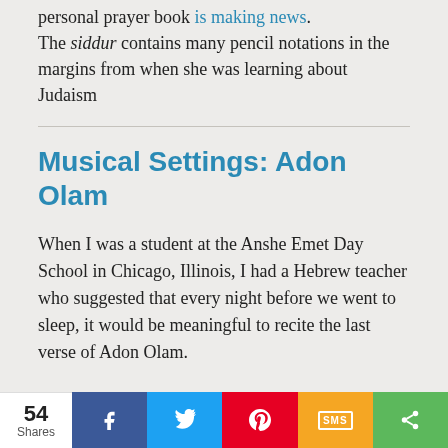personal prayer book is making news. The siddur contains many pencil notations in the margins from when she was learning about Judaism
Musical Settings: Adon Olam
When I was a student at the Anshe Emet Day School in Chicago, Illinois, I had a Hebrew teacher who suggested that every night before we went to sleep, it would be meaningful to recite the last verse of Adon Olam.
In Toledo, Asleep in the Room of
54 Shares